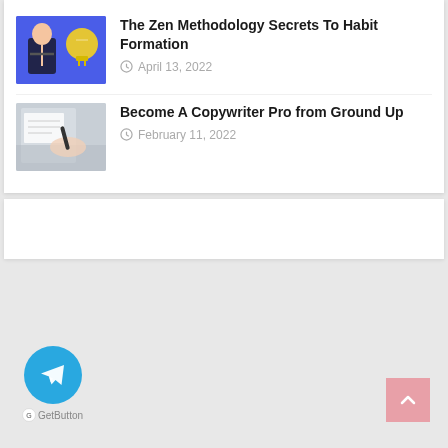The Zen Methodology Secrets To Habit Formation — April 13, 2022
Become A Copywriter Pro from Ground Up — February 11, 2022
[Figure (other): Empty white card/widget area]
[Figure (logo): Telegram GetButton floating button with blue circle and paper plane icon, with label 'GetButton']
[Figure (other): Pink back-to-top button with upward arrow chevron]